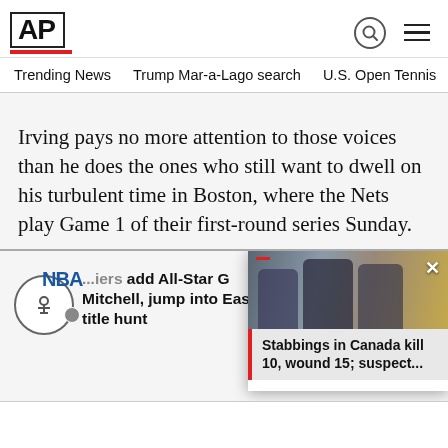AP
Trending News   Trump Mar-a-Lago search   U.S. Open Tennis
Irving pays no more attention to those voices than he does the ones who still want to dwell on his turbulent time in Boston, where the Nets play Game 1 of their first-round series Sunday.
...iers add All-Star G Mitchell, jump into East title hunt
Bosto... has to...
Stabbings in Canada kill 10, wound 15; suspect...